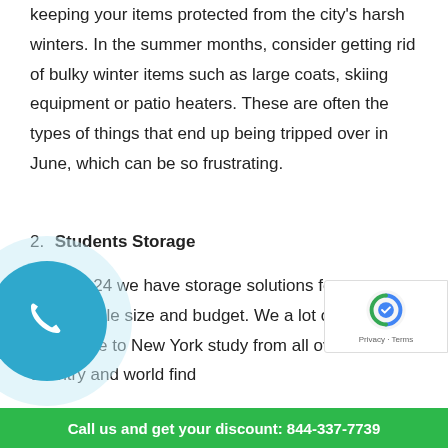the dual impact of freeing up space and keeping your items protected from the city's harsh winters. In the summer months, consider getting rid of bulky winter items such as large coats, skiing equipment or patio heaters. These are often the types of things that end up being tripped over in June, which can be so frustrating.
2. Students Storage
At Boxie24 we have storage solutions for every conceivable size and budget. We a lot of students who come to New York study from all over the country and world find
[Figure (illustration): Blue phone icon circle button on the bottom left]
[Figure (illustration): Google reCAPTCHA badge on the right side]
Call us and get your discount: 844-337-7739